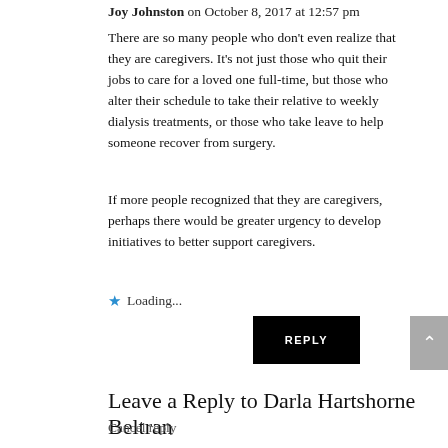Joy Johnston on October 8, 2017 at 12:57 pm
There are so many people who don't even realize that they are caregivers. It's not just those who quit their jobs to care for a loved one full-time, but those who alter their schedule to take their relative to weekly dialysis treatments, or those who take leave to help someone recover from surgery.
If more people recognized that they are caregivers, perhaps there would be greater urgency to develop initiatives to better support caregivers.
★ Loading...
REPLY
Leave a Reply to Darla Hartshorne Beltran
Cancel reply